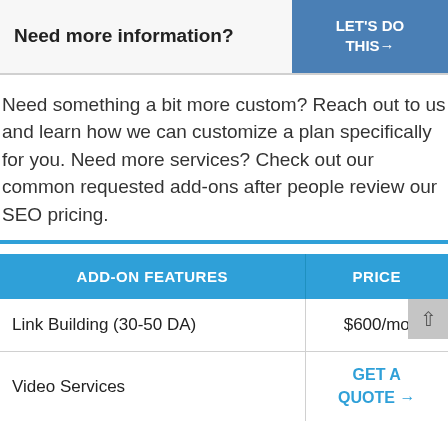Need more information?
LET'S DO THIS→
Need something a bit more custom? Reach out to us and learn how we can customize a plan specifically for you. Need more services? Check out our common requested add-ons after people review our SEO pricing.
| ADD-ON FEATURES | PRICE |
| --- | --- |
| Link Building (30-50 DA) | $600/mo |
| Video Services | GET A QUOTE → |